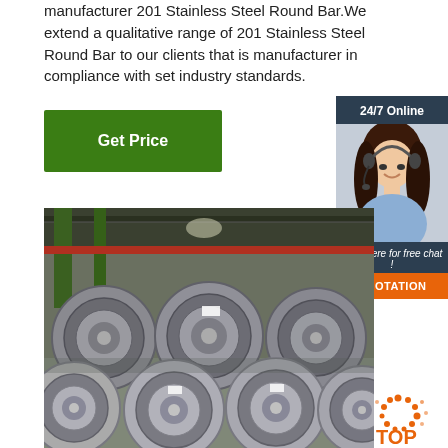manufacturer 201 Stainless Steel Round Bar.We extend a qualitative range of 201 Stainless Steel Round Bar to our clients that is manufacturer in compliance with set industry standards.
Get Price
[Figure (infographic): Sidebar with '24/7 Online' header, photo of a woman with headset, 'Click here for free chat!' text, and orange QUOTATION button]
[Figure (photo): Stacked coils of stainless steel wire rod in an industrial warehouse setting]
[Figure (logo): TOP logo with orange dots forming a globe/circle pattern with 'TOP' text in orange]